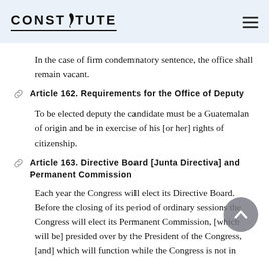CONSTITUTE
In the case of firm condemnatory sentence, the office shall remain vacant.
Article 162. Requirements for the Office of Deputy
To be elected deputy the candidate must be a Guatemalan of origin and be in exercise of his [or her] rights of citizenship.
Article 163. Directive Board [Junta Directiva] and Permanent Commission
Each year the Congress will elect its Directive Board. Before the closing of its period of ordinary sessions the Congress will elect its Permanent Commission, [which will be] presided over by the President of the Congress, [and] which will function while the Congress is not in